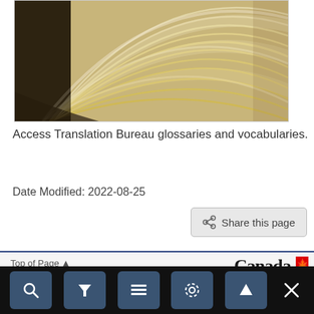[Figure (photo): Close-up photograph of an open book showing fanned pages with warm yellowish-cream tones]
Access Translation Bureau glossaries and vocabularies.
Date Modified: 2022-08-25
[Figure (screenshot): Share this page button]
Top of Page  |  Canada (Government of Canada logo)
[Figure (screenshot): Mobile toolbar with search, filter, menu, settings, scroll-up, and close buttons]